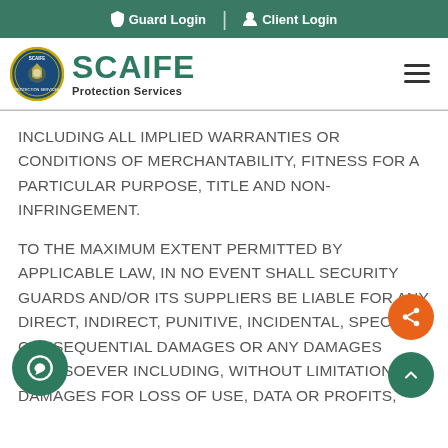Guard Login | Client Login
[Figure (logo): Scaife Protection Services logo with circular seal and green brand name text]
INCLUDING ALL IMPLIED WARRANTIES OR CONDITIONS OF MERCHANTABILITY, FITNESS FOR A PARTICULAR PURPOSE, TITLE AND NON-INFRINGEMENT.
TO THE MAXIMUM EXTENT PERMITTED BY APPLICABLE LAW, IN NO EVENT SHALL SECURITY GUARDS AND/OR ITS SUPPLIERS BE LIABLE FOR ANY DIRECT, INDIRECT, PUNITIVE, INCIDENTAL, SPECIAL, CONSEQUENTIAL DAMAGES OR ANY DAMAGES WHATSOEVER INCLUDING, WITHOUT LIMITATION, DAMAGES FOR LOSS OF USE, DATA OR PROFITS,